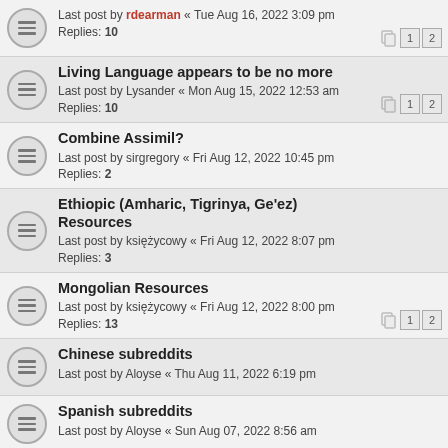Last post by rdearman « Tue Aug 16, 2022 3:09 pm
Replies: 10
Living Language appears to be no more
Last post by Lysander « Mon Aug 15, 2022 12:53 am
Replies: 10
Combine Assimil?
Last post by sirgregory « Fri Aug 12, 2022 10:45 pm
Replies: 2
Ethiopic (Amharic, Tigrinya, Ge'ez) Resources
Last post by księżycowy « Fri Aug 12, 2022 8:07 pm
Replies: 3
Mongolian Resources
Last post by księżycowy « Fri Aug 12, 2022 8:00 pm
Replies: 13
Chinese subreddits
Last post by Aloyse « Thu Aug 11, 2022 6:19 pm
Spanish subreddits
Last post by Aloyse « Sun Aug 07, 2022 8:56 am